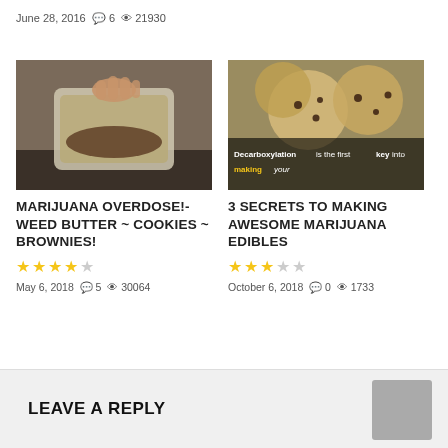June 28, 2016  💬 6  👁 21930
[Figure (photo): Hand holding a plastic container with brownish substance inside, kitchen background]
MARIJUANA OVERDOSE!- WEED BUTTER ~ COOKIES ~ BROWNIES!
★★★★☆  May 6, 2018  💬 5  👁 30064
[Figure (photo): Close-up of chocolate chip cookies with text overlay: Decarboxylation is the first key into making your]
3 SECRETS TO MAKING AWESOME MARIJUANA EDIBLES
★★★☆☆  October 6, 2018  💬 0  👁 1733
LEAVE A REPLY